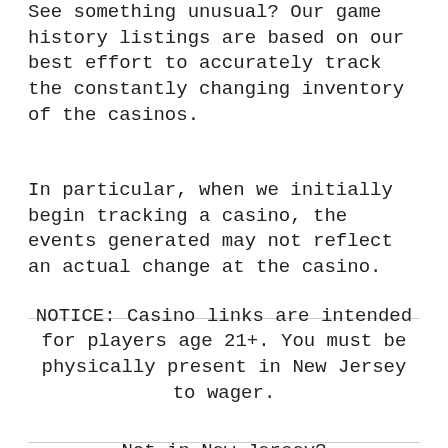See something unusual? Our game history listings are based on our best effort to accurately track the constantly changing inventory of the casinos.
In particular, when we initially begin tracking a casino, the events generated may not reflect an actual change at the casino.
NOTICE: Casino links are intended for players age 21+. You must be physically present in New Jersey to wager.
Not in New Jersey?